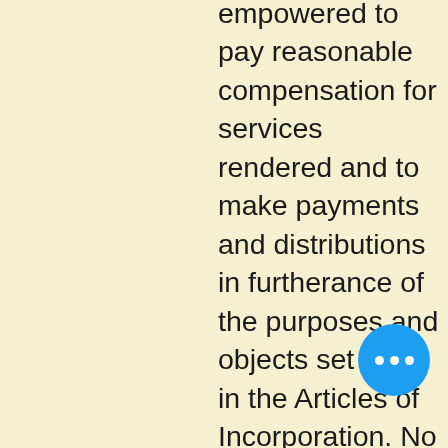empowered to pay reasonable compensation for services rendered and to make payments and distributions in furtherance of the purposes and objects set forth in the Articles of Incorporation. No substantial part of the activities of Iowa Chess shall be the carrying on of propaganda, or otherwise attempting to influence legislation, and it shall not participate in, or intervene in (including the publishing or distribution of statements) any political campaign on behalf of any candidate for public office. Notwithstanding any other provisions of these Bylaws, it shall not carry on any activities not permitted to be carried on: a)by a corporation exempt from federal income tax under Section 501 (c) (3) of the Internal Revenue Code of 1986 (or the corresponding provision of any future United States Internal Revenue Code)